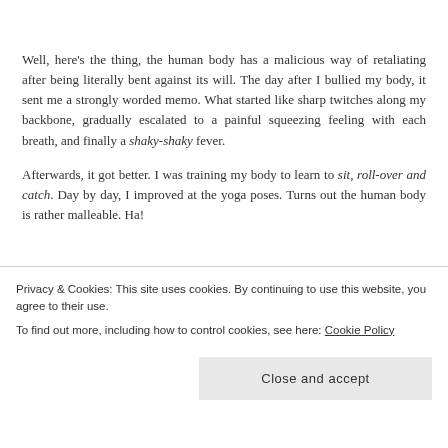Well, here's the thing, the human body has a malicious way of retaliating after being literally bent against its will. The day after I bullied my body, it sent me a strongly worded memo. What started like sharp twitches along my backbone, gradually escalated to a painful squeezing feeling with each breath, and finally a shaky-shaky fever.

Afterwards, it got better. I was training my body to learn to sit, roll-over and catch. Day by day, I improved at the yoga poses. Turns out the human body is rather malleable. Ha!
Privacy & Cookies: This site uses cookies. By continuing to use this website, you agree to their use.
To find out more, including how to control cookies, see here: Cookie Policy
Close and accept